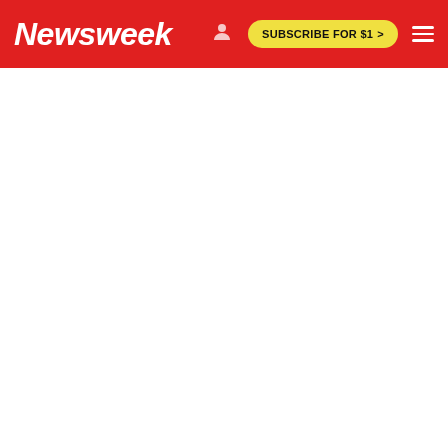Newsweek | SUBSCRIBE FOR $1 >
[Figure (screenshot): Embedded tweet from Louis Fishman (@Istanbultelaviv) with verified badge and Follow button, showing partial tweet text about Tel Aviv]
Louis Fishman לואי פישמן לוי פישמן @Istanbultelaviv · Follow The raising of Tel Aviv into right...